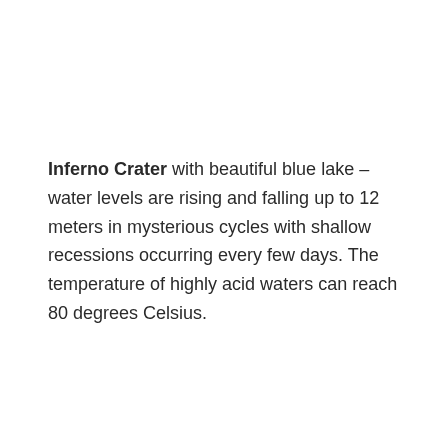Inferno Crater with beautiful blue lake – water levels are rising and falling up to 12 meters in mysterious cycles with shallow recessions occurring every few days. The temperature of highly acid waters can reach 80 degrees Celsius.